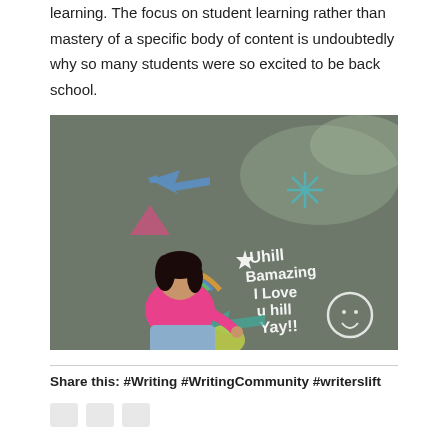learning. The focus on student learning rather than mastery of a specific body of content is undoubtedly why so many students were so excited to be back school.
[Figure (photo): A young girl in a pink shirt and jeans sits on asphalt pavement covered in colorful chalk drawings and writing. The chalk text reads 'Uhill Bamazing I Love u hill Yay!!' with various chalk drawings around her including arrows, shapes, and a smiley face.]
Share this: #Writing #WritingCommunity #writerslift